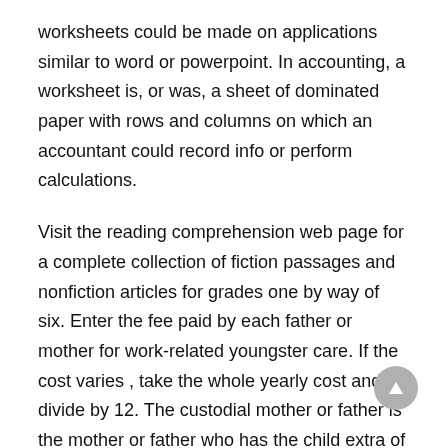worksheets could be made on applications similar to word or powerpoint. In accounting, a worksheet is, or was, a sheet of dominated paper with rows and columns on which an accountant could record info or perform calculations.
Visit the reading comprehension web page for a complete collection of fiction passages and nonfiction articles for grades one by way of six. Enter the fee paid by each father or mother for work-related youngster care. If the cost varies , take the whole yearly cost and divide by 12. The custodial mother or father is the mother or father who has the child extra of the time. If every of you may have the kid 50% of the time, select one of you to be the custodial father or mother. Select Text AreaTo choose a textual content space, maintain down the or key.